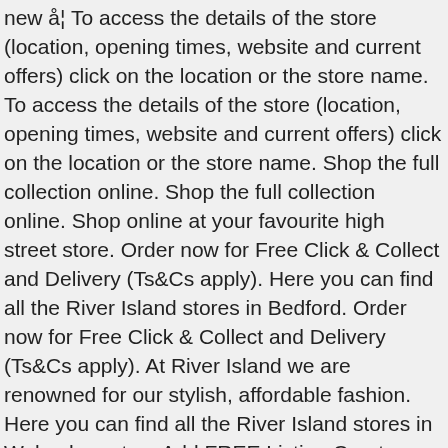new å¦ To access the details of the store (location, opening times, website and current offers) click on the location or the store name. To access the details of the store (location, opening times, website and current offers) click on the location or the store name. Shop the full collection online. Shop the full collection online. Shop online at your favourite high street store. Order now for Free Click & Collect and Delivery (Ts&Cs apply). Here you can find all the River Island stores in Bedford. Order now for Free Click & Collect and Delivery (Ts&Cs apply). At River Island we are renowned for our stylish, affordable fashion. Here you can find all the River Island stores in Wolverhampton. Add FREE Listing Create Account Login. Shop our new Red boucle 'RIR' blazer at River Island today. Shop our new Black Molly Mid Rise Skinny Jean at River Island today. London Road A1 Retail Park, SG18 8NE Biggleswade, Unit 40-42, Midsummer Place Arcade, Milton Keynes, MK9 3GB Milton Keynes, Stadium Way West Mk1 Shopping Park, MK1 1ST Milton Keynes, 13-15 Abington Street, Northampton, NN1 2AN Northampton, 19-20 West Gate